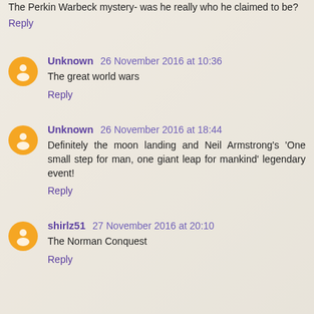The Perkin Warbeck mystery- was he really who he claimed to be?
Reply
Unknown 26 November 2016 at 10:36
The great world wars
Reply
Unknown 26 November 2016 at 18:44
Definitely the moon landing and Neil Armstrong's 'One small step for man, one giant leap for mankind' legendary event!
Reply
shirlz51 27 November 2016 at 20:10
The Norman Conquest
Reply